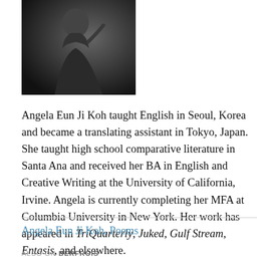[Figure (photo): Black and white portrait photo of Angela Eun Ji Koh, a young woman seated, wearing dark clothing, with her hand near her face, against a dark background.]
Angela Eun Ji Koh taught English in Seoul, Korea and became a translating assistant in Tokyo, Japan. She taught high school comparative literature in Santa Ana and received her BA in English and Creative Writing at the University of California, Irvine. Angela is currently completing her MFA at Columbia University in New York. Her work has appeared in TriQuarterly, Juked, Gulf Stream, Entasis, and elsewhere.
Angela Eun Ji Koh, Poems
ALSO ON BERFROIS